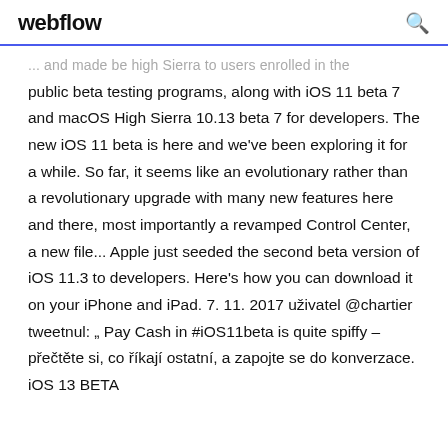webflow
... and made be high Sierra to users enrolled in the public beta testing programs, along with iOS 11 beta 7 and macOS High Sierra 10.13 beta 7 for developers. The new iOS 11 beta is here and we've been exploring it for a while. So far, it seems like an evolutionary rather than a revolutionary upgrade with many new features here and there, most importantly a revamped Control Center, a new file... Apple just seeded the second beta version of iOS 11.3 to developers. Here's how you can download it on your iPhone and iPad. 7. 11. 2017 uživatel @chartier tweetnul: „ Pay Cash in #iOS11beta is quite spiffy – přečtěte si, co říkají ostatní, a zapojte se do konverzace. iOS 13 BETA